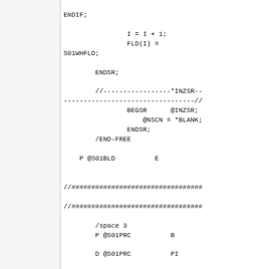ENDIF;

                I = I + 1;
                FLD(I) =
S01WHFLD;

        ENDSR;

        //-----------------*INZSR--
---------------------------------//
                BEGSR      @INZSR;
                    @NSCN = *BLANK;
                ENDSR;
        /END-FREE

    P @S01BLD          E


//#################################

//#################################

        /space 3
        P @S01PRC          B

        D @S01PRC          PI

                //
                //
        D WRKRC            S
4S 0
        D C01CHK           S
LIKE(S01POSN)